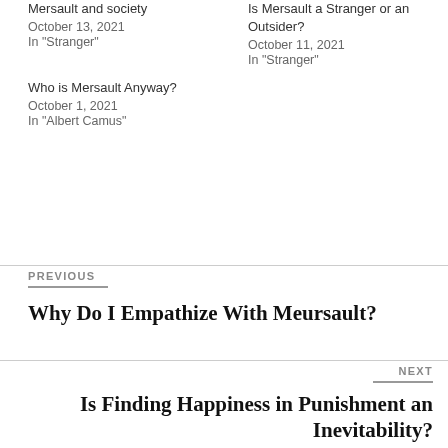Mersault and society
October 13, 2021
In "Stranger"
Is Mersault a Stranger or an Outsider?
October 11, 2021
In "Stranger"
Who is Mersault Anyway?
October 1, 2021
In "Albert Camus"
PREVIOUS
Why Do I Empathize With Meursault?
NEXT
Is Finding Happiness in Punishment an Inevitability?